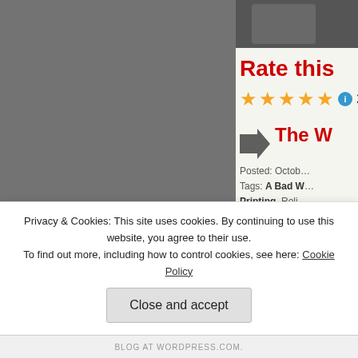[Figure (photo): Grey toned left panel image]
[Figure (photo): Dark greyscale photo in top-right corner]
Rate this
[Figure (other): Five gold star rating with info circle and count 2]
The W
Posted: Octob...
Tags: A Bad W... Printing, Reli... Witchcraft
[Figure (photo): Dark brownish image in bottom-right]
Privacy & Cookies: This site uses cookies. By continuing to use this website, you agree to their use.
To find out more, including how to control cookies, see here: Cookie Policy
Close and accept